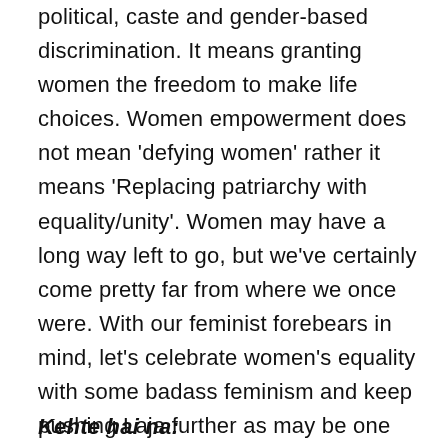political, caste and gender-based discrimination. It means granting women the freedom to make life choices. Women empowerment does not mean 'defying women' rather it means 'Replacing patriarchy with equality/unity'. Women may have a long way left to go, but we've certainly come pretty far from where we once were. With our feminist forebears in mind, let's celebrate women's equality with some badass feminism and keep pushing Laja further as may be one day all her cuts and compromises will turn into a bookmark.
Kehte hai na: